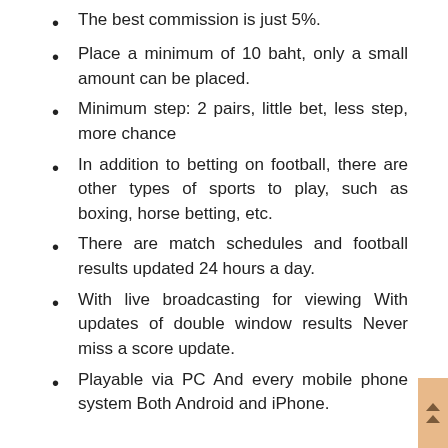The best commission is just 5%.
Place a minimum of 10 baht, only a small amount can be placed.
Minimum step: 2 pairs, little bet, less step, more chance
In addition to betting on football, there are other types of sports to play, such as boxing, horse betting, etc.
There are match schedules and football results updated 24 hours a day.
With live broadcasting for viewing With updates of double window results Never miss a score update.
Playable via PC And every mobile phone system Both Android and iPhone.